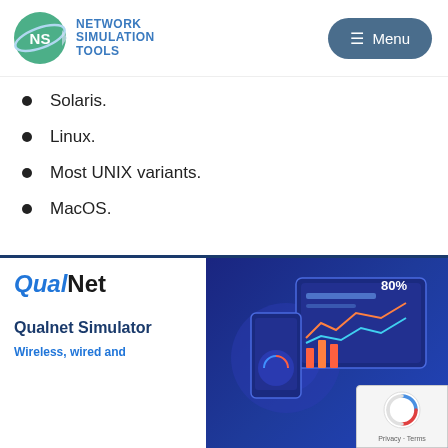[Figure (logo): Network Simulation Tools logo with NS globe icon and teal/blue text, plus a dark blue Menu button]
Solaris.
Linux.
Most UNIX variants.
MacOS.
[Figure (screenshot): QualNet Simulator card with white left panel showing QualNet logo, 'Qualnet Simulator' title, 'Wireless, wired and' subtitle, and right panel showing dark blue background with analytics/dashboard illustrations and 80% label]